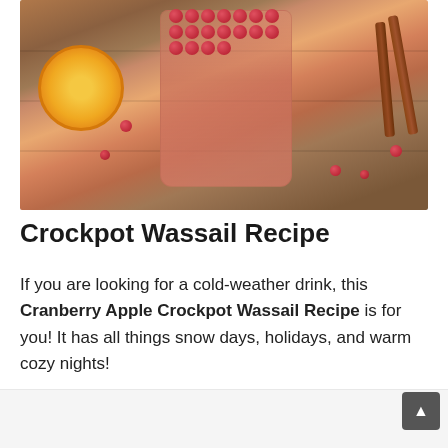[Figure (photo): A glass mug filled with pink cranberry apple wassail drink, topped with fresh red cranberries. An orange slice sits to the left, cinnamon sticks lean on the right, and scattered cranberries decorate the wooden surface background.]
Crockpot Wassail Recipe
If you are looking for a cold-weather drink, this Cranberry Apple Crockpot Wassail Recipe is for you! It has all things snow days, holidays, and warm cozy nights!